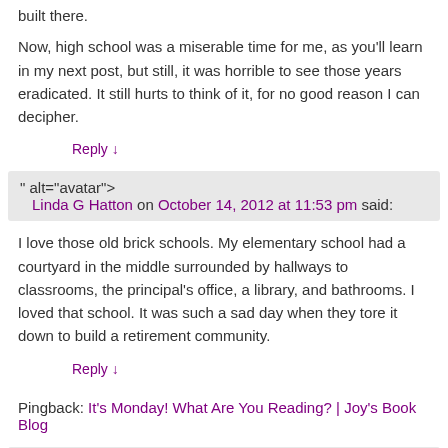built there.
Now, high school was a miserable time for me, as you'll learn in my next post, but still, it was horrible to see those years eradicated. It still hurts to think of it, for no good reason I can decipher.
Reply ↓
Linda G Hatton on October 14, 2012 at 11:53 pm said:
I love those old brick schools. My elementary school had a courtyard in the middle surrounded by hallways to classrooms, the principal's office, a library, and bathrooms. I loved that school. It was such a sad day when they tore it down to build a retirement community.
Reply ↓
Pingback: It's Monday! What Are You Reading? | Joy's Book Blog
Susan Hawthorne on October 15, 2012 at 12:47 pm said:
No pods for me in elementary school but we did have an annex and that's where the first and second graders were.
At third grade we moved into the main school located on the